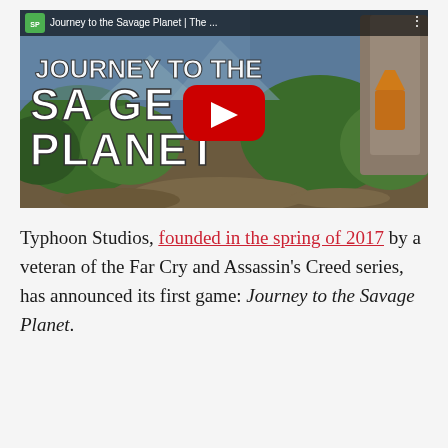[Figure (screenshot): YouTube video thumbnail for 'Journey to the Savage Planet | The...' showing the game title in large white grunge-style text over a lush alien landscape background, with a red YouTube play button in the center. A small channel icon is visible in the top-left corner of the video player bar.]
Typhoon Studios, founded in the spring of 2017 by a veteran of the Far Cry and Assassin's Creed series, has announced its first game: Journey to the Savage Planet.